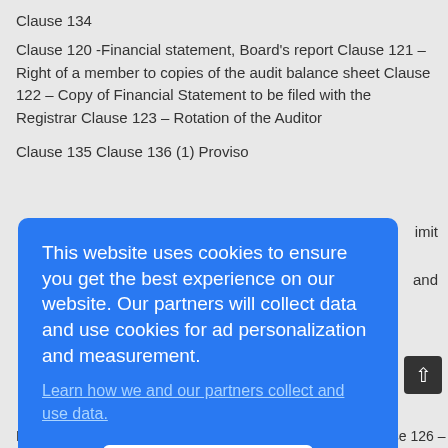Clause 134
Clause 120 -Financial statement, Board’s report Clause 121 – Right of a member to copies of the audit balance sheet Clause 122 – Copy of Financial Statement to be filed with the Registrar Clause 123 – Rotation of the Auditor
Clause 135 Clause 136 (1) Proviso
[Figure (screenshot): Cookie consent popup overlay with blue background. Text reads: 'This website uses cookies to ensure you get the best experience on our website. Our partners will collect data and use cookies for ad personalization and measurement.' Followed by a link 'Learn how we and our partners collect and use data.' and an OK button.]
Key Issues and Clause No. in the Companies Bill, 2009 Clause 126 –